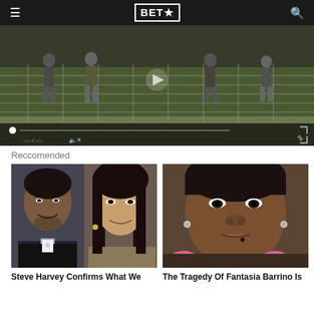BET★
[Figure (screenshot): Video player showing people near a fence outdoors, with playback controls including a progress bar, time display, mute button, and fullscreen button on a dark overlay.]
Reccomended
[Figure (photo): Two people side by side: a man in a tuxedo on the left and a woman with long hair on the right.]
Steve Harvey Confirms What We
[Figure (photo): Close-up portrait of a woman with short hair wearing pink accessories.]
The Tragedy Of Fantasia Barrino Is